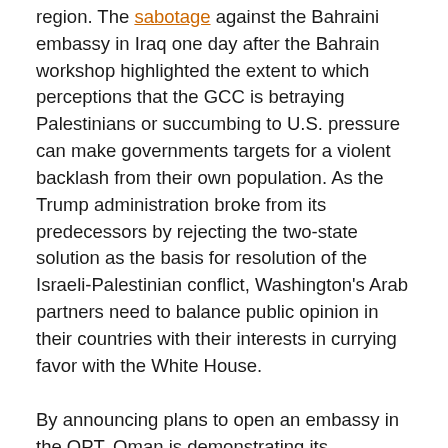region. The sabotage against the Bahraini embassy in Iraq one day after the Bahrain workshop highlighted the extent to which perceptions that the GCC is betraying Palestinians or succumbing to U.S. pressure can make governments targets for a violent backlash from their own population. As the Trump administration broke from its predecessors by rejecting the two-state solution as the basis for resolution of the Israeli-Palestinian conflict, Washington's Arab partners need to balance public opinion in their countries with their interests in currying favor with the White House.
By announcing plans to open an embassy in the OPT, Oman is demonstrating its continued belief that a Palestinian state is necessary for solving the Palestinian-Israeli conflict. This is at odds with Kushner's plan, which would essentially — if reports are accurate — consolidate the Israeli occupation. With Oman announcing plans for an embassy in the West Bank, it is possible that some other GCC members, most likely Kuwait, Bahrain, or the UAE,